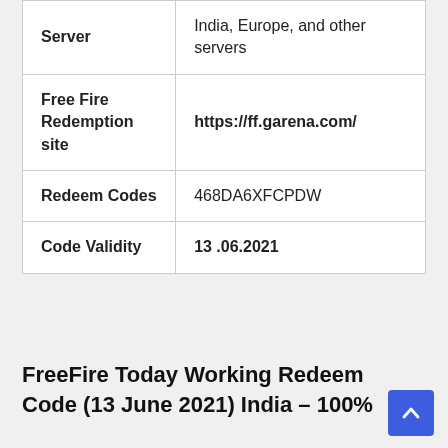|  |  |
| --- | --- |
| Server | India, Europe, and other servers |
| Free Fire Redemption site | https://ff.garena.com/ |
| Redeem Codes | 468DA6XFCPDW |
| Code Validity | 13 .06.2021 |
FreeFire Today Working Redeem Code (13 June 2021) India – 100%